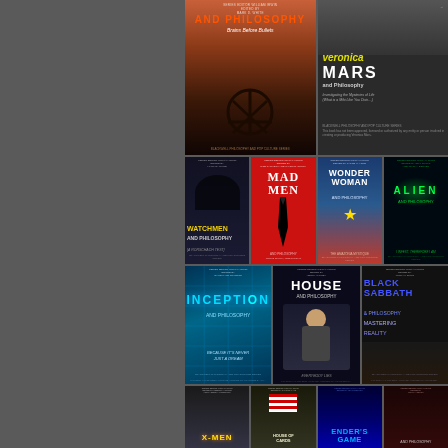[Figure (illustration): Anarchy and Philosophy book cover - desert road scene with anarchy symbol, subtitle: Brains Before Bullets]
[Figure (illustration): Veronica Mars and Philosophy book cover - dark background with yellow and white text, Investigating the Mysteries of Life]
[Figure (illustration): Watchmen and Philosophy book cover - dark blue background with yellow title text]
[Figure (illustration): Mad Men and Philosophy book cover - red background with black tie graphic]
[Figure (illustration): Wonder Woman and Philosophy book cover - blue and red background]
[Figure (illustration): Alien and Philosophy book cover - dark background with green glowing text]
[Figure (illustration): Inception and Philosophy book cover - teal/blue architectural distortion, subtitle: Because It's Never Just a Dream]
[Figure (illustration): House and Philosophy book cover - dark background with Hugh Laurie, subtitle: Everybody Lies]
[Figure (illustration): Black Sabbath and Philosophy book cover - dark background with blue text, subtitle: Mastering Reality]
[Figure (illustration): X-Men and Philosophy book cover - partial view at bottom]
[Figure (illustration): House (second volume) and Philosophy book cover - partial view at bottom]
[Figure (illustration): Ender's Game and Philosophy book cover - blue space theme, partial view at bottom]
[Figure (illustration): Unknown Philosophy book cover - partial view at bottom right]